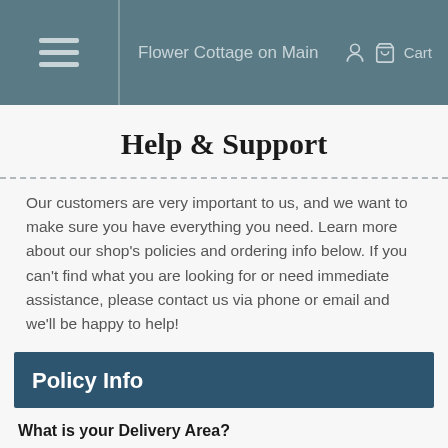Flower Cottage on Main
Help & Support
Our customers are very important to us, and we want to make sure you have everything you need. Learn more about our shop's policies and ordering info below. If you can't find what you are looking for or need immediate assistance, please contact us via phone or email and we'll be happy to help!
Policy Info
What is your Delivery Area?